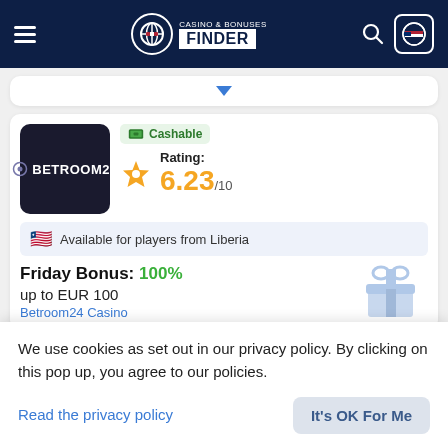Casino & Bonuses Finder
[Figure (screenshot): Collapsed card with blue downward arrow]
[Figure (logo): Betroom24 casino logo — dark background with circular icon and BETROOM24 text]
Cashable
Rating: 6.23/10
Available for players from Liberia
Friday Bonus: 100% up to EUR 100
Betroom24 Casino
We use cookies as set out in our privacy policy. By clicking on this pop up, you agree to our policies.
Read the privacy policy
It's OK For Me